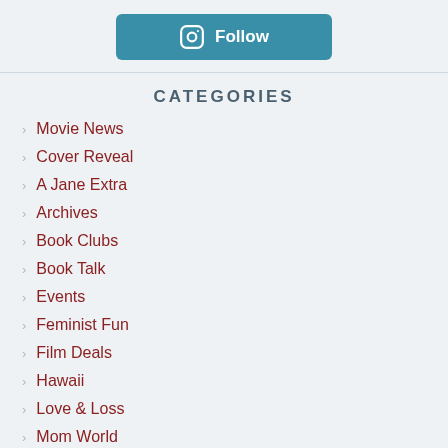[Figure (other): Instagram Follow button with camera icon]
CATEGORIES
Movie News
Cover Reveal
A Jane Extra
Archives
Book Clubs
Book Talk
Events
Feminist Fun
Film Deals
Hawaii
Love & Loss
Mom World